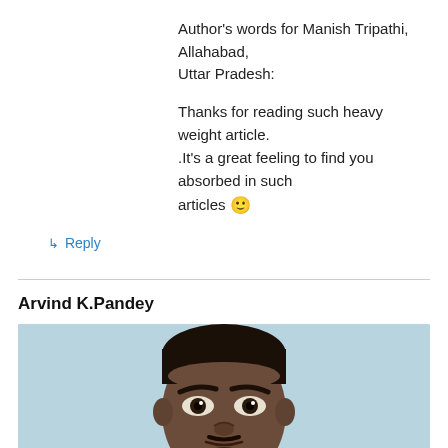Author's words for Manish Tripathi, Allahabad, Uttar Pradesh:
Thanks for reading such heavy weight article. .It's a great feeling to find you absorbed in such articles 🙂
↳ Reply
Arvind K.Pandey
[Figure (photo): Headshot photograph of Arvind K.Pandey against a light blue background, showing face and upper shoulders.]